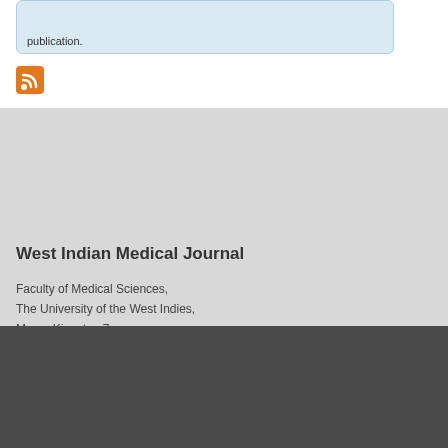publication.
[Figure (logo): RSS feed icon - orange square with white RSS symbol]
West Indian Medical Journal
Faculty of Medical Sciences,
The University of the West Indies,
Mona, Kingston 7
Tel: (876) 927-1214
Fax: (876) 927-1846
wimj@uwimona.edu.jm
Emergency Contacts | Campus Contacts | MITS
Helpdesk
Top of Page